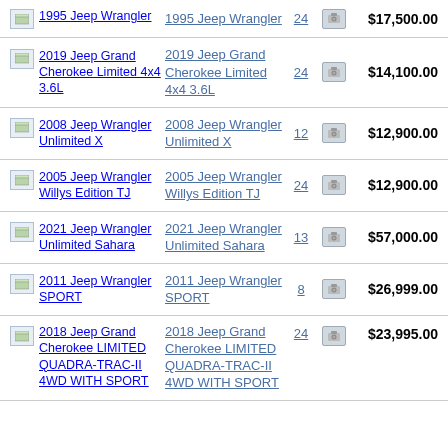1995 Jeep Wrangler | 24 | $17,500.00
2019 Jeep Grand Cherokee Limited 4x4 3.6L | 24 | $14,100.00
2008 Jeep Wrangler Unlimited X | 12 | $12,900.00
2005 Jeep Wrangler Willys Edition TJ | 24 | $12,900.00
2021 Jeep Wrangler Unlimited Sahara | 13 | $57,000.00
2011 Jeep Wrangler SPORT | 8 | $26,999.00
2018 Jeep Grand Cherokee LIMITED QUADRA-TRAC-II 4WD WITH SPORT | 24 | $23,995.00